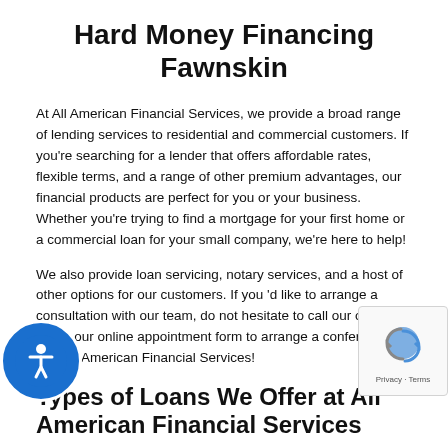Hard Money Financing Fawnskin
At All American Financial Services, we provide a broad range of lending services to residential and commercial customers. If you're searching for a lender that offers affordable rates, flexible terms, and a range of other premium advantages, our financial products are perfect for you or your business. Whether you're trying to find a mortgage for your first home or a commercial loan for your small company, we're here to help!
We also provide loan servicing, notary services, and a host of other options for our customers. If you 'd like to arrange a consultation with our team, do not hesitate to call our office or utilize our online appointment form to arrange a conference with All American Financial Services!
Types of Loans We Offer at All American Financial Services
At All American Financial Services, we provide a comprehensive